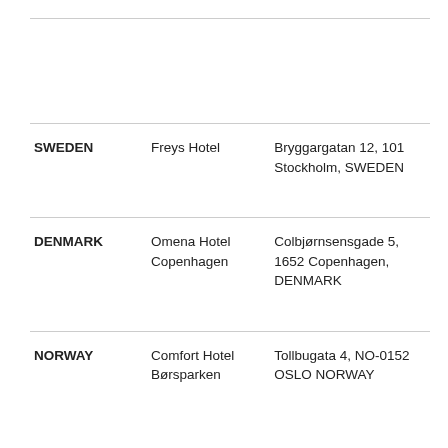|  |  |  |
| SWEDEN | Freys Hotel | Bryggargatan 12, 101
Stockholm, SWEDEN |
| DENMARK | Omena Hotel Copenhagen | Colbjørnsensgade 5, 1652 Copenhagen, DENMARK |
| NORWAY | Comfort Hotel Børsparken | Tollbugata 4, NO-0152 OSLO NORWAY |